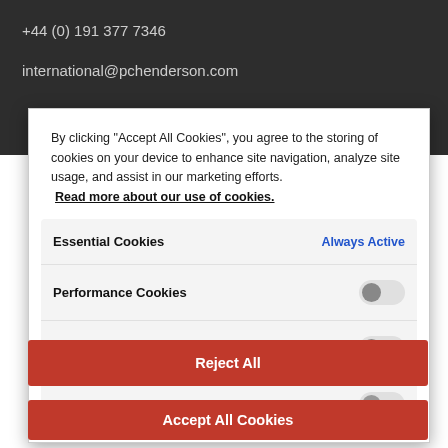+44 (0) 191 377 7346
international@pchenderson.com
By clicking "Accept All Cookies", you agree to the storing of cookies on your device to enhance site navigation, analyze site usage, and assist in our marketing efforts.
Read more about our use of cookies.
Essential Cookies
Always Active
Performance Cookies
Functional Cookies
Marketing Cookies
Reject All
Accept All Cookies